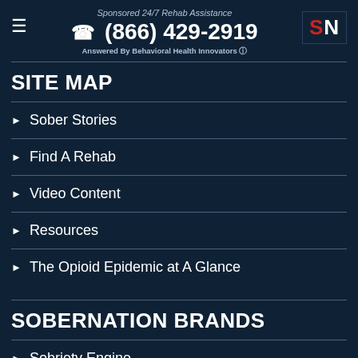Sponsored 24/7 Rehab Assistance
(866) 429-2919
Answered By Behavioral Health Innovators
SITE MAP
Sober Stories
Find A Rehab
Video Content
Resources
The Opioid Epidemic at A Glance
SOBERNATION BRANDS
Sobriety Engine